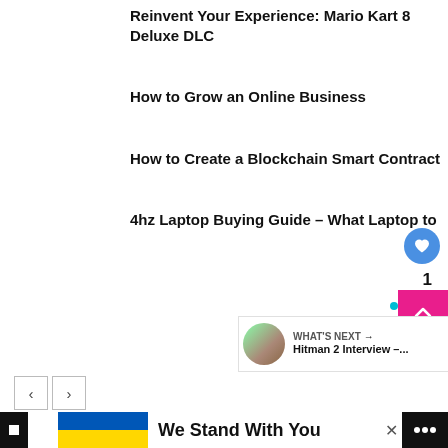Reinvent Your Experience: Mario Kart 8 Deluxe DLC
How to Grow an Online Business
How to Create a Blockchain Smart Contract
4hz Laptop Buying Guide – What Laptop to
WHAT'S NEXT → Hitman 2 Interview –...
We Stand With You